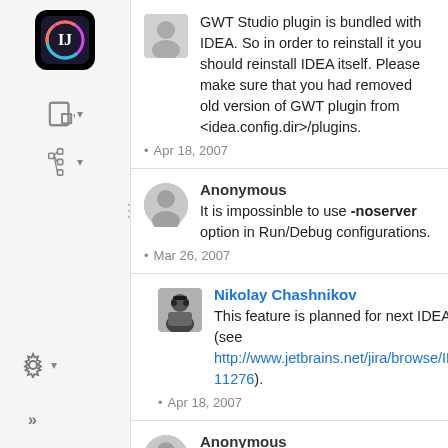GWT Studio plugin is bundled with IDEA. So in order to reinstall it you should reinstall IDEA itself. Please make sure that you had removed old version of GWT plugin from <idea.config.dir>/plugins.
Apr 18, 2007
Anonymous
It is impossinble to use -noserver option in Run/Debug configurations.
Mar 26, 2007
Nikolay Chashnikov
This feature is planned for next IDEA version (see http://www.jetbrains.net/jira/browse/IDEADEV-11276).
Apr 18, 2007
Anonymous